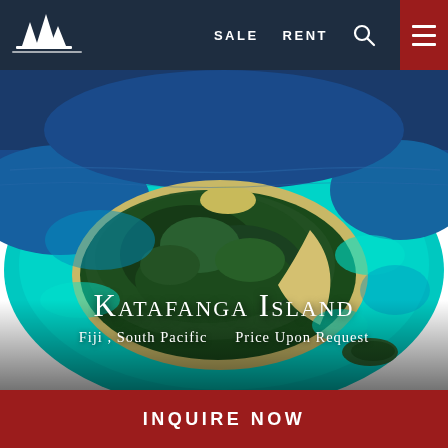SALE   RENT
[Figure (photo): Aerial photograph of Katafanga Island, Fiji, South Pacific — a lush green tropical island surrounded by turquoise coral reef waters and sandy beaches, viewed from above.]
Katafanga Island
Fiji , South Pacific    Price Upon Request
INQUIRE NOW